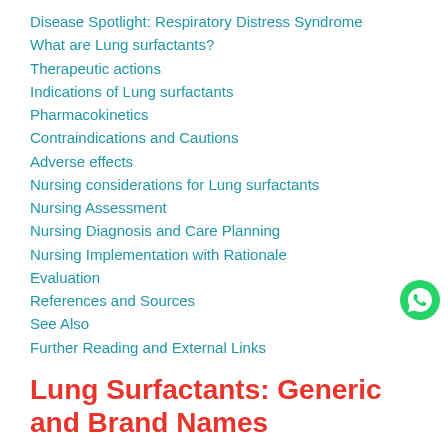Disease Spotlight: Respiratory Distress Syndrome
What are Lung surfactants?
Therapeutic actions
Indications of Lung surfactants
Pharmacokinetics
Contraindications and Cautions
Adverse effects
Nursing considerations for Lung surfactants
Nursing Assessment
Nursing Diagnosis and Care Planning
Nursing Implementation with Rationale
Evaluation
References and Sources
See Also
Further Reading and External Links
[Figure (logo): WhatsApp green circle logo icon]
Lung Surfactants: Generic and Brand Names